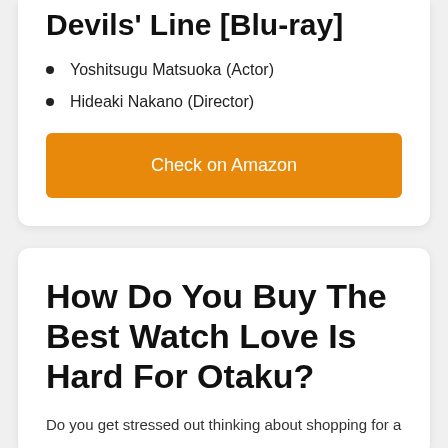Devils' Line [Blu-ray]
Yoshitsugu Matsuoka (Actor)
Hideaki Nakano (Director)
Check on Amazon
How Do You Buy The Best Watch Love Is Hard For Otaku?
Do you get stressed out thinking about shopping for a